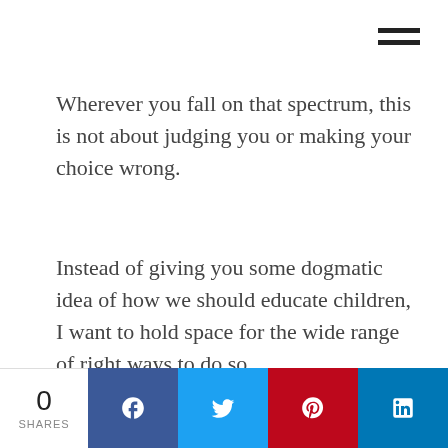Wherever you fall on that spectrum, this is not about judging you or making your choice wrong.
Instead of giving you some dogmatic idea of how we should educate children, I want to hold space for the wide range of right ways to do so.
0 SHARES | Facebook | Twitter | Pinterest | LinkedIn